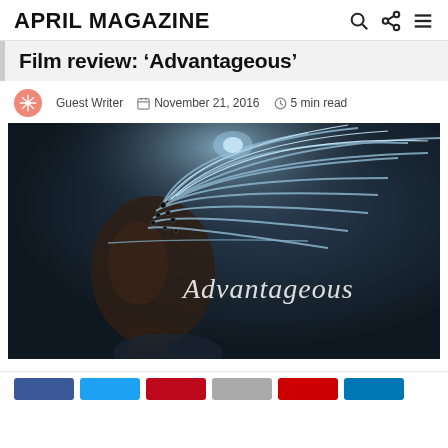APRIL MAGAZINE
Film review: 'Advantageous'
Guest Writer  November 21, 2016  5 min read
[Figure (photo): Movie poster for 'Advantageous' showing a woman in profile with futuristic neural cables flowing from her head, dark background with glowing blue-white light elements, and the title 'Advantageous' in cursive script overlaid on the image.]